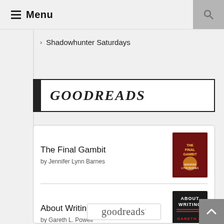Menu
Shadowhunter Saturdays
[Figure (logo): GOODREADS logo in bold italic serif font inside a bordered box with black left bar]
The Final Gambit by Jennifer Lynn Barnes
About Writing by Gareth L. Powell
[Figure (logo): goodreads logo with dot registered trademark symbol inside a bordered rounded rectangle]